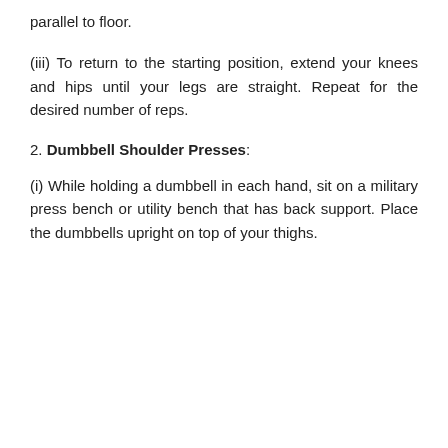parallel to floor.
(iii) To return to the starting position, extend your knees and hips until your legs are straight. Repeat for the desired number of reps.
2. Dumbbell Shoulder Presses:
(i) While holding a dumbbell in each hand, sit on a military press bench or utility bench that has back support. Place the dumbbells upright on top of your thighs.